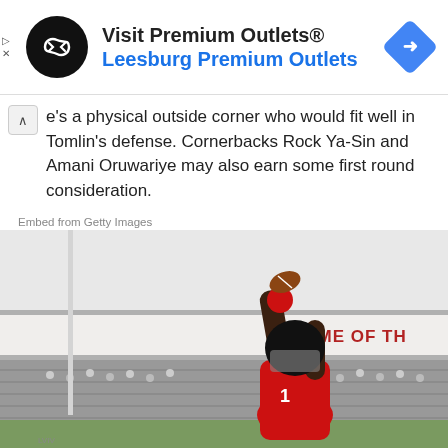[Figure (other): Advertisement banner for Visit Premium Outlets® - Leesburg Premium Outlets, with black circular logo with infinity-like arrows, navigation diamond icon on right, and play/close icons on left edge]
e's a physical outside corner who would fit well in Tomlin's defense. Cornerbacks Rock Ya-Sin and Amani Oruwariye may also earn some first round consideration.
Embed from Getty Images
[Figure (photo): A football player in a red uniform catching or reaching for a football above his head in a stadium. The stadium has a sign reading HOME OF TH[E] visible in the background with crowds in the stands.]